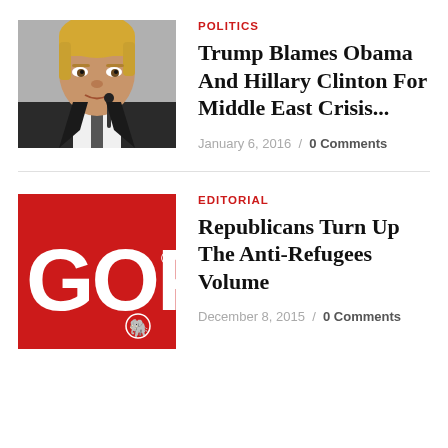[Figure (photo): Photo of Donald Trump at a press conference with a microphone]
POLITICS
Trump Blames Obama And Hillary Clinton For Middle East Crisis...
January 6, 2016 / 0 Comments
[Figure (logo): GOP logo — red background with white bold text 'GOP' and elephant symbol]
EDITORIAL
Republicans Turn Up The Anti-Refugees Volume
December 8, 2015 / 0 Comments